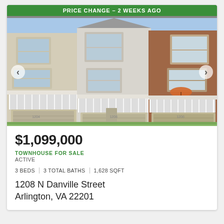[Figure (photo): Exterior photo of townhouses at 1208 N Danville Street, Arlington, VA — three-story townhomes with bay windows, white balcony railings, and garage doors. Green banner at top reads 'PRICE CHANGE - 2 WEEKS AGO'. Left and right navigation arrows visible.]
$1,099,000
TOWNHOUSE FOR SALE
ACTIVE
3 BEDS | 3 TOTAL BATHS | 1,628 SQFT
1208 N Danville Street
Arlington, VA 22201